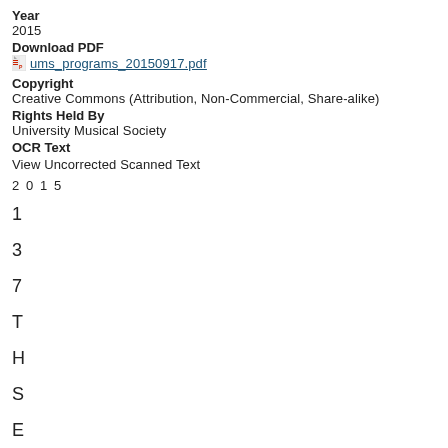Year
2015
Download PDF
ums_programs_20150917.pdf
Copyright
Creative Commons (Attribution, Non-Commercial, Share-alike)
Rights Held By
University Musical Society
OCR Text
View Uncorrected Scanned Text
2 0 1 5
1
3
7
T
H
S
E
A